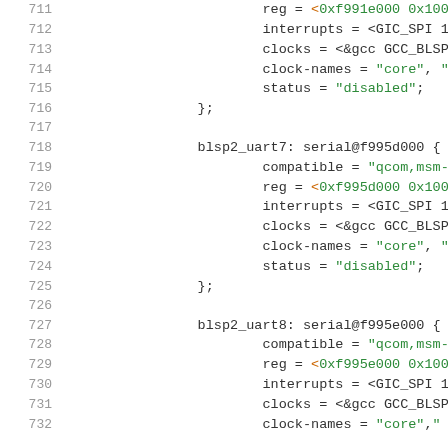Code listing lines 711-732, device tree source showing blsp2_uart7 and blsp2_uart8 serial node definitions with reg, interrupts, clocks, clock-names, and status properties.